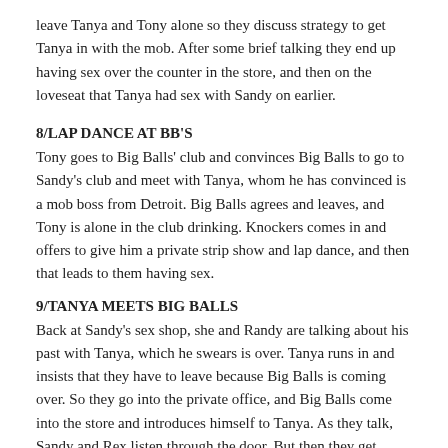leave Tanya and Tony alone so they discuss strategy to get Tanya in with the mob. After some brief talking they end up having sex over the counter in the store, and then on the loveseat that Tanya had sex with Sandy on earlier.
8/LAP DANCE AT BB'S
Tony goes to Big Balls' club and convinces Big Balls to go to Sandy's club and meet with Tanya, whom he has convinced is a mob boss from Detroit. Big Balls agrees and leaves, and Tony is alone in the club drinking. Knockers comes in and offers to give him a private strip show and lap dance, and then that leads to them having sex.
9/TANYA MEETS BIG BALLS
Back at Sandy's sex shop, she and Randy are talking about his past with Tanya, which he swears is over. Tanya runs in and insists that they have to leave because Big Balls is coming over. So they go into the private office, and Big Balls come into the store and introduces himself to Tanya. As they talk, Sandy and Rex listen through the door. But then they get turned on and have sex on the desk in the office.
10/MRS. ENTERTAINMENT